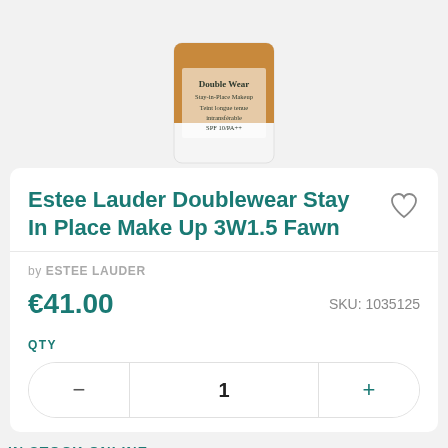[Figure (photo): Estee Lauder Double Wear Stay-in-Place Makeup bottle, golden/tan colored liquid visible in a white rectangular bottle with text on label: Double Wear, Stay-in-Place Makeup, Teint longue tenue intransférable, SPF 10/PA++]
Estee Lauder Doublewear Stay In Place Make Up 3W1.5 Fawn
by ESTEE LAUDER
€41.00
SKU: 1035125
QTY
1
IN STOCK ONLINE